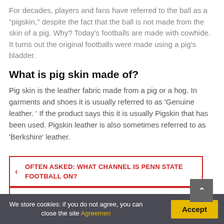For decades, players and fans have referred to the ball as a "pigskin," despite the fact that the ball is not made from the skin of a pig. Why? Today's footballs are made with cowhide. It turns out the original footballs were made using a pig's bladder.
What is pig skin made of?
Pig skin is the leather fabric made from a pig or a hog. In garments and shoes it is usually referred to as 'Genuine leather. ' If the product says this it is usually Pigskin that has been used. Pigskin leather is also sometimes referred to as 'Berkshire' leather.
OFTEN ASKED: WHAT CHANNEL IS PENN STATE FOOTBALL ON?
QUICK ANSWER: HOW FAR CAN TOM BRADY
We store cookies: if you do not agree, you can close the site Agreemen